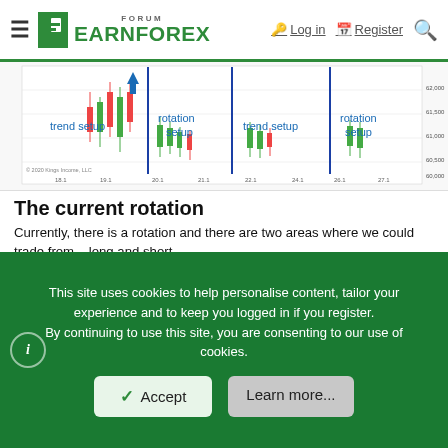FORUM EARNFOREX — Log in | Register
[Figure (screenshot): Trading chart showing candlestick price data with vertical blue lines separating labeled sections: 'trend setup', 'rotation setup', 'trend setup', 'rotation setup'. Chart has price scale on the right and date axis at the bottom.]
The current rotation
Currently, there is a rotation and there are two areas where we could trade from – long and short.
What I like about the short is a confluence with Volume Profile Indicator. If you use the Volume Profile to look into the recent selling area, then you can see that there is a "volume cluster". This means heavy volumes got traded there. Quite possibly
This site uses cookies to help personalise content, tailor your experience and to keep you logged in if you register.
By continuing to use this site, you are consenting to our use of cookies.
Accept | Learn more...